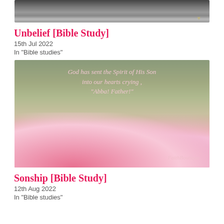[Figure (photo): Black and white photo of books or stacked items at top of page]
Unbelief [Bible Study]
15th Jul 2022
In "Bible studies"
[Figure (photo): Photo of pink peony flowers with scripture text overlay: "God has sent the Spirit of His Son into our hearts crying, 'Abba! Father!' Galatians 4:6" and FaithBoutique watermark]
Sonship [Bible Study]
12th Aug 2022
In "Bible studies"